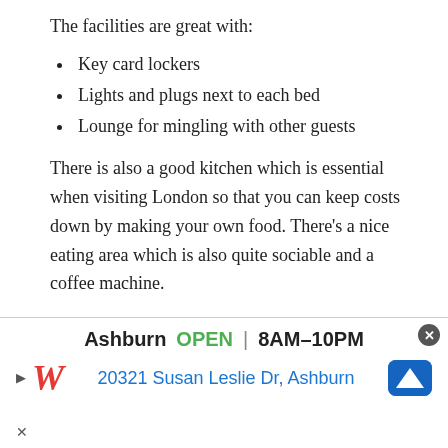The facilities are great with:
Key card lockers
Lights and plugs next to each bed
Lounge for mingling with other guests
There is also a good kitchen which is essential when visiting London so that you can keep costs down by making your own food. There’s a nice eating area which is also quite sociable and a coffee machine.
Breakfast isn’t included but it’s a pretty good price for what you get.
Check in from 2pm and checkout before 10am
[Figure (infographic): Advertisement banner for Walgreens in Ashburn, showing open hours 8AM-10PM, address 20321 Susan Leslie Dr, Ashburn, with Walgreens logo and a close button]